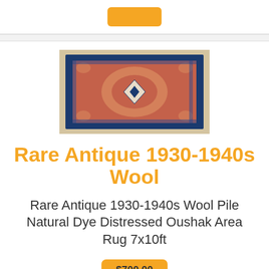[Figure (photo): Orange/amber button at top of page]
[Figure (photo): Antique wool Oushak area rug with blue border and red/orange center medallion design, approximately 7x10 feet, photographed from above.]
Rare Antique 1930-1940s Wool
Rare Antique 1930-1940s Wool Pile Natural Dye Distressed Oushak Area Rug 7x10ft
[Figure (other): Orange/amber price button showing $700.00 partially visible at bottom]